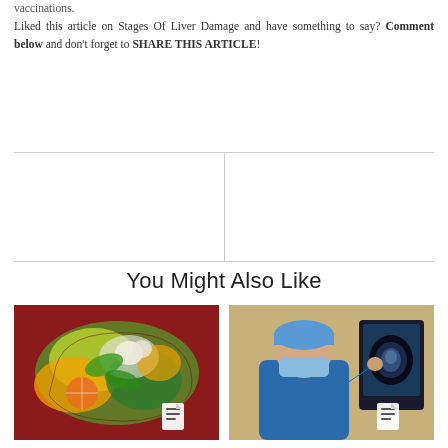vaccinations. Liked this article on Stages Of Liver Damage and have something to say? Comment below and don't forget to SHARE THIS ARTICLE!
[Figure (other): Two-column divider placeholder area with horizontal and vertical rules]
You Might Also Like
[Figure (photo): Article thumbnail showing a liver-shaped collage of healthy foods (garlic, vegetables, citrus, orange slices) on a dark red background with a document icon overlay]
[Figure (photo): Article thumbnail showing a surgeon in blue scrubs and cap viewing brain scan images on a medical monitor, with a document icon overlay]